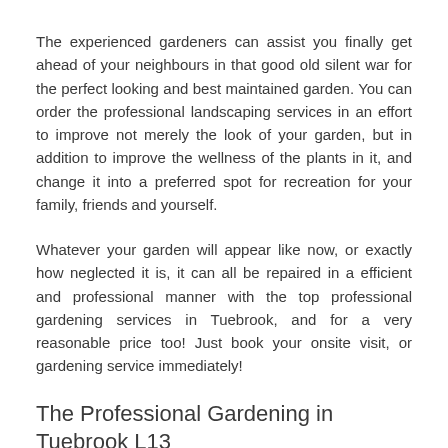The experienced gardeners can assist you finally get ahead of your neighbours in that good old silent war for the perfect looking and best maintained garden. You can order the professional landscaping services in an effort to improve not merely the look of your garden, but in addition to improve the wellness of the plants in it, and change it into a preferred spot for recreation for your family, friends and yourself.
Whatever your garden will appear like now, or exactly how neglected it is, it can all be repaired in a efficient and professional manner with the top professional gardening services in Tuebrook, and for a very reasonable price too! Just book your onsite visit, or gardening service immediately!
The Professional Gardening in Tuebrook L13